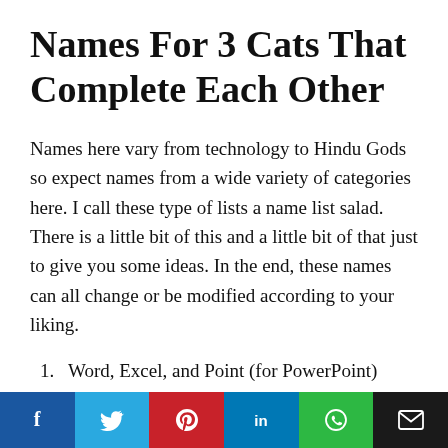Names For 3 Cats That Complete Each Other
Names here vary from technology to Hindu Gods so expect names from a wide variety of categories here. I call these type of lists a name list salad. There is a little bit of this and a little bit of that just to give you some ideas. In the end, these names can all change or be modified according to your liking.
1. Word, Excel, and Point (for PowerPoint)
2. Eat, Pray, and Love